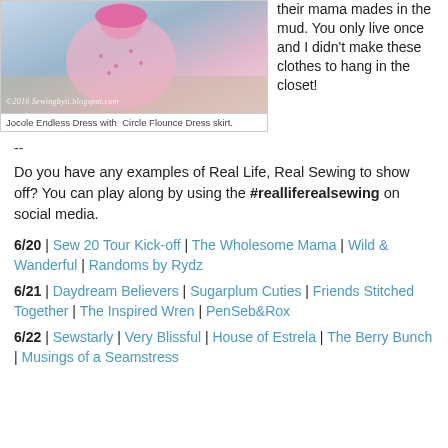[Figure (photo): Young girl in pink polka dot dress playing in mud/dirt outdoors, with watermark '©2016 Sewingbyti.blogspot.com']
Jocole Endless Dress with  Circle Flounce Dress skirt.
their mama mades in the mud. You only live once and I didn't make these clothes to hang in the closet!
--
Do you have any examples of Real Life, Real Sewing to show off? You can play along by using the #realliferealsewing on social media.
6/20 | Sew 20 Tour Kick-off | The Wholesome Mama | Wild & Wanderful | Randoms by Rydz
6/21 | Daydream Believers | Sugarplum Cuties | Friends Stitched Together | The Inspired Wren | PenSeb&Rox
6/22 | Sewstarly | Very Blissful | House of Estrela | The Berry Bunch | Musings of a Seamstress